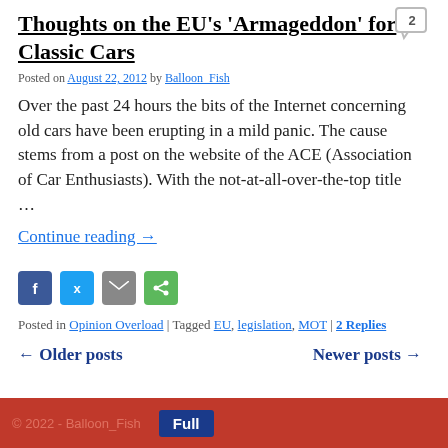Thoughts on the EU's 'Armageddon' for Classic Cars
Posted on August 22, 2012 by Balloon_Fish
Over the past 24 hours the bits of the Internet concerning old cars have been erupting in a mild panic. The cause stems from a post on the website of the ACE (Association of Car Enthusiasts). With the not-at-all-over-the-top title …
Continue reading →
[Figure (other): Social sharing icons: Facebook, Twitter, Email, Share]
Posted in Opinion Overload | Tagged EU, legislation, MOT | 2 Replies
← Older posts   Newer posts →
© 2022 - Balloon_Fish  Full